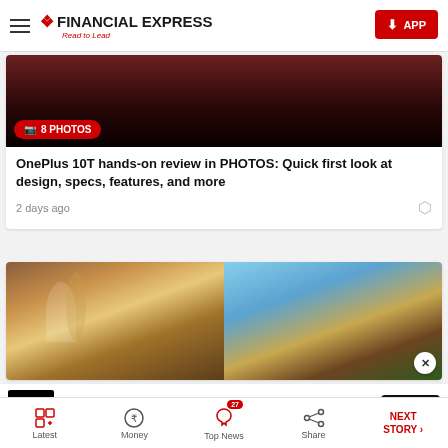FINANCIAL EXPRESS - Read to Lead
[Figure (screenshot): Dark photo thumbnail with 8 PHOTOS badge in red]
OnePlus 10T hands-on review in PHOTOS: Quick first look at design, specs, features, and more
2 days ago
[Figure (photo): Two side-by-side game/festival scene images]
[Figure (screenshot): Caterpillar Inc. advertisement banner - For Caterpillar OEM with Open button]
Latest  Money  Top News (27)  Share  NEXT STORY